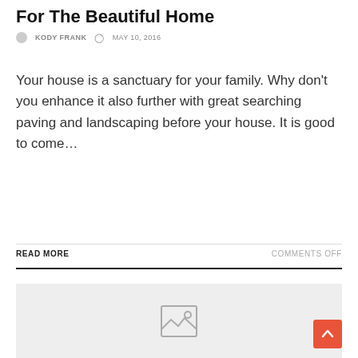For The Beautiful Home
KODY FRANK   MAY 10, 2016
Your house is a sanctuary for your family. Why don't you enhance it also further with great searching paving and landscaping before your house. It is good to come…
READ MORE
COMMENTS OFF
[Figure (photo): Placeholder image box with broken image icon on light grey background]